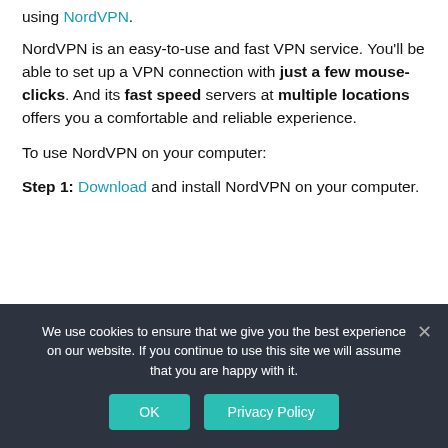using NordVPN.
NordVPN is an easy-to-use and fast VPN service. You'll be able to set up a VPN connection with just a few mouse-clicks. And its fast speed servers at multiple locations offers you a comfortable and reliable experience.
To use NordVPN on your computer:
Step 1: Download and install NordVPN on your computer.
We use cookies to ensure that we give you the best experience on our website. If you continue to use this site we will assume that you are happy with it.